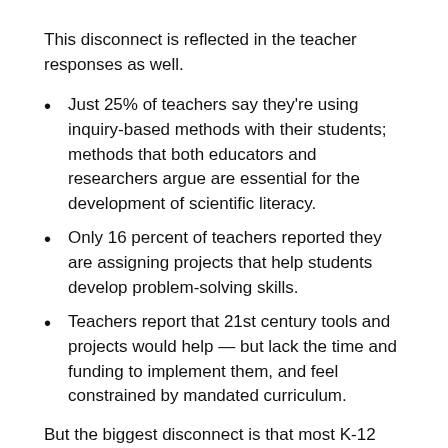This disconnect is reflected in the teacher responses as well.
Just 25% of teachers say they're using inquiry-based methods with their students; methods that both educators and researchers argue are essential for the development of scientific literacy.
Only 16 percent of teachers reported they are assigning projects that help students develop problem-solving skills.
Teachers report that 21st century tools and projects would help — but lack the time and funding to implement them, and feel constrained by mandated curriculum.
But the biggest disconnect is that most K-12 school administrators don't see this problem. Here's the percentage of each category that gave a passing grade